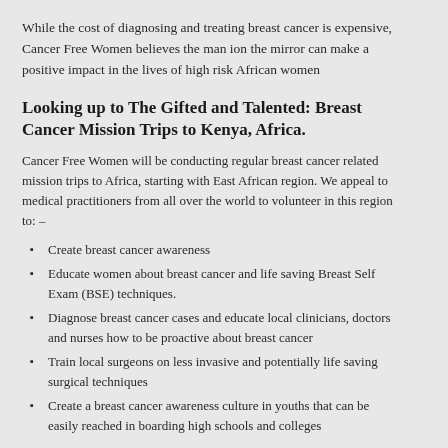While the cost of diagnosing and treating breast cancer is expensive, Cancer Free Women believes the man ion the mirror can make a positive impact in the lives of high risk African women
Looking up to The Gifted and Talented: Breast Cancer Mission Trips to Kenya, Africa.
Cancer Free Women will be conducting regular breast cancer related mission trips to Africa, starting with East African region. We appeal to medical practitioners from all over the world to volunteer in this region to: –
Create breast cancer awareness
Educate women about breast cancer and life saving Breast Self Exam (BSE) techniques.
Diagnose breast cancer cases and educate local clinicians, doctors and nurses how to be proactive about breast cancer
Train local surgeons on less invasive and potentially life saving surgical techniques
Create a breast cancer awareness culture in youths that can be easily reached in boarding high schools and colleges